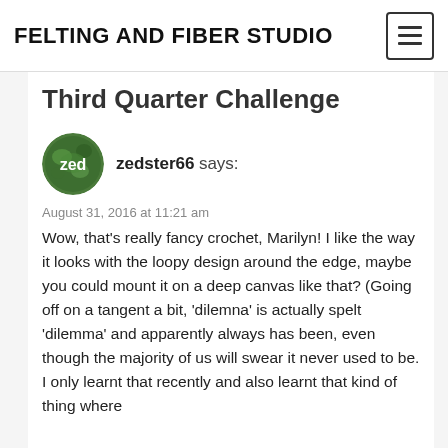FELTING AND FIBER STUDIO
Third Quarter Challenge
zedster66 says:
August 31, 2016 at 11:21 am
Wow, that's really fancy crochet, Marilyn! I like the way it looks with the loopy design around the edge, maybe you could mount it on a deep canvas like that? (Going off on a tangent a bit, 'dilemna' is actually spelt 'dilemma' and apparently always has been, even though the majority of us will swear it never used to be. I only learnt that recently and also learnt that kind of thing where